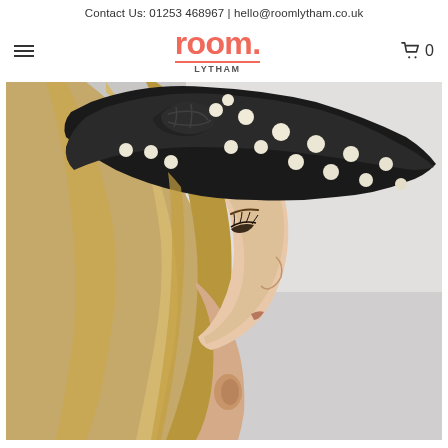Contact Us: 01253 468967 | hello@roomlytham.co.uk
[Figure (logo): room. LYTHAM logo in salmon/coral color with underline, with hamburger menu icon on left and cart icon with 0 on right]
[Figure (photo): A woman wearing a black and white polka dot wide headband, shown from the side/profile angle with blonde hair down, looking downward. The headband is wide, fabric, with a twisted/knotted detail at the top.]